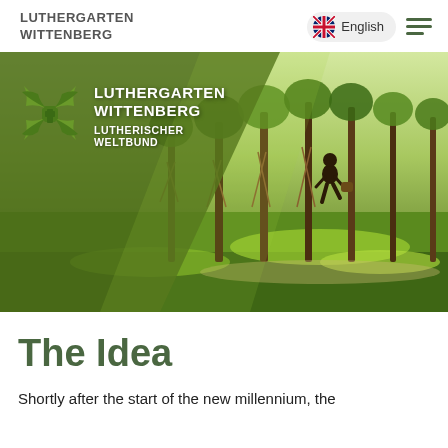LUTHERGARTEN WITTENBERG
English
[Figure (photo): Website screenshot showing Luthergarten Wittenberg logo with four-leaf clover mark, text overlay on a hero photo of a park with trees and a person walking, bright green grass in sunlight]
The Idea
Shortly after the start of the new millennium, the